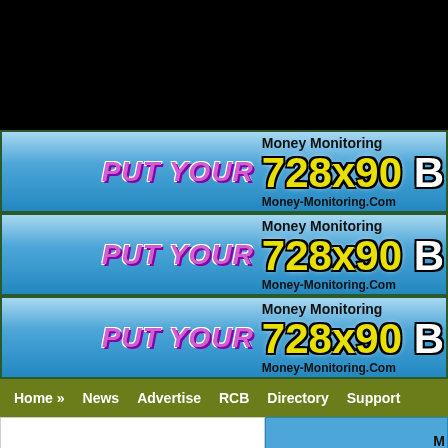[Figure (other): Black banner bar at top of page]
[Figure (other): Advertisement banner 1: PUT YOUR 728x90 banner. Money Monitoring / Money-Monitoring.Com]
[Figure (other): Advertisement banner 2: PUT YOUR 728x90 banner. Money Monitoring / Money-Monitoring.Com]
[Figure (other): Advertisement banner 3: PUT YOUR 728x90 banner. Money Monitoring / Money-Monitoring.Com]
Home » News Advertise RCB Directory Support